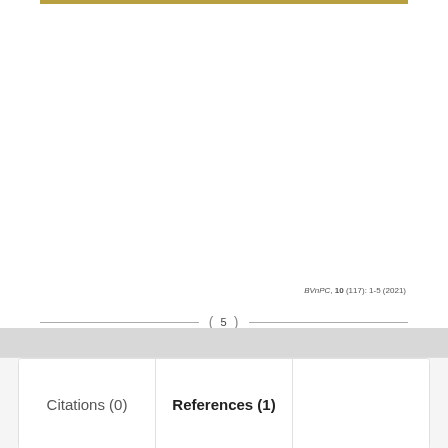BVnPC, 10 (117): 1-5 (2021)
5
Citations (0)
References (1)